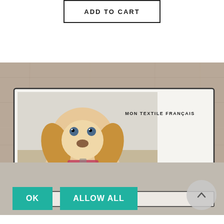[Figure (screenshot): ADD TO CART button with black border on white background]
[Figure (photo): A white textile/blanket printed with a photo of a golden Cocker Spaniel puppy with a red collar, branded 'MON TEXTILE FRANCAIS', laid on a wooden surface]
OK
ALLOW ALL